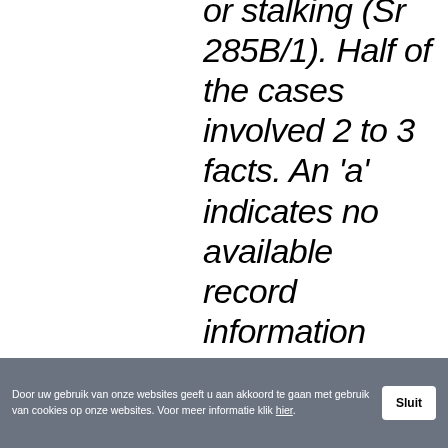or stalking (Sr 285B/1). Half of the cases involved 2 to 3 facts. An 'a' indicates no available record information
Door uw gebruik van onze websites geeft u aan akkoord te gaan met gebruik van cookies op onze websites. Voor meer informatie klik hier.